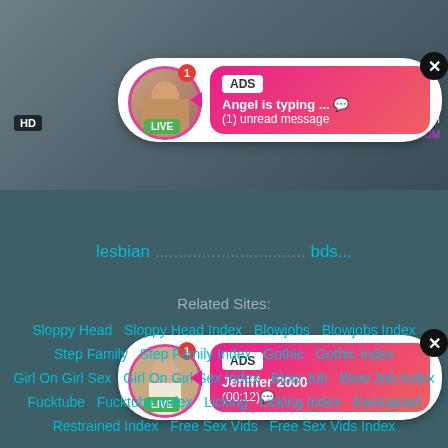[Figure (screenshot): Adult website screenshot showing two ad popups with live avatar badges, HD video background, and related sites links at bottom]
ADS
Angel is typing ... 💬
(1) unread message
ADS
Jeniffer 2000
(00:12)💬
lesbian ... bds...
Related Sites:
Sloppy Head   Sloppy Head Index   Blowjobs   Blowjobs Index
Step Family   Step Family Index   Gothic   Gothic Index
Girl On Girl Sex   Girl On Girl Sex Index   Blow Job   Blow Job Index
Fucktube   Fucktube Index   Licking   Licking Index   Restrained
Restrained Index   Free Sex Vids   Free Sex Vids Index